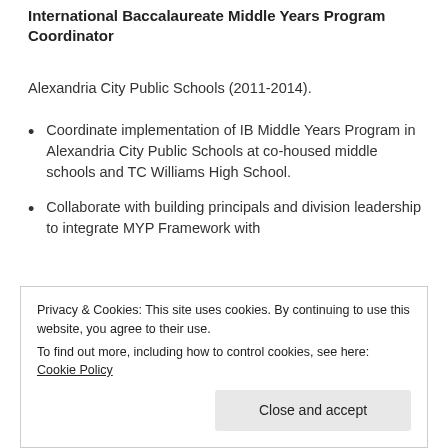International Baccalaureate Middle Years Program Coordinator
Alexandria City Public Schools (2011-2014).
Coordinate implementation of IB Middle Years Program in Alexandria City Public Schools at co-housed middle schools and TC Williams High School.
Collaborate with building principals and division leadership to integrate MYP Framework with
implementation.
Privacy & Cookies: This site uses cookies. By continuing to use this website, you agree to their use.
To find out more, including how to control cookies, see here: Cookie Policy